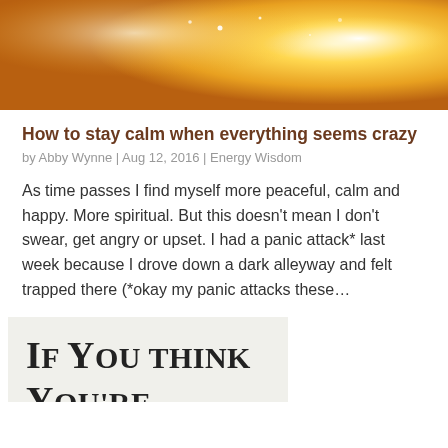[Figure (photo): Golden glowing bokeh background image with warm yellow and white light tones]
How to stay calm when everything seems crazy
by Abby Wynne | Aug 12, 2016 | Energy Wisdom
As time passes I find myself more peaceful, calm and happy. More spiritual. But this doesn't mean I don't swear, get angry or upset. I had a panic attack* last week because I drove down a dark alleyway and felt trapped there (*okay my panic attacks these...
[Figure (photo): Partially visible image with bold text reading 'If you think you're']